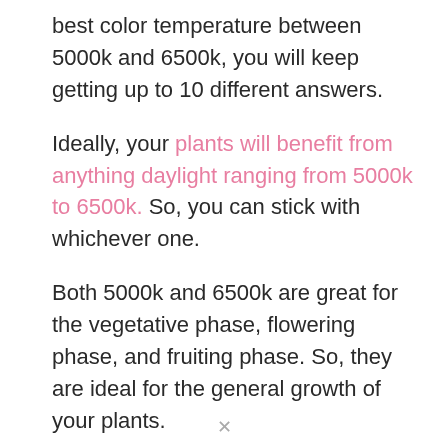best color temperature between 5000k and 6500k, you will keep getting up to 10 different answers.
Ideally, your plants will benefit from anything daylight ranging from 5000k to 6500k. So, you can stick with whichever one.
Both 5000k and 6500k are great for the vegetative phase, flowering phase, and fruiting phase. So, they are ideal for the general growth of your plants.
The only difference between 5000k and